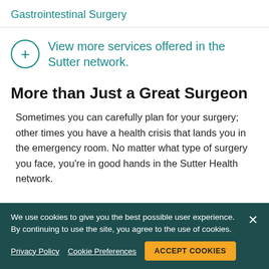Gastrointestinal Surgery
+ View more services offered in the Sutter network.
More than Just a Great Surgeon
Sometimes you can carefully plan for your surgery; other times you have a health crisis that lands you in the emergency room. No matter what type of surgery you face, you're in good hands in the Sutter Health network.
We use cookies to give you the best possible user experience. By continuing to use the site, you agree to the use of cookies.
Privacy Policy  Cookie Preferences  ACCEPT COOKIES